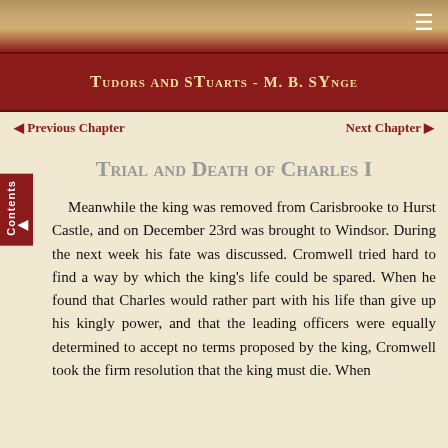[Figure (illustration): Decorative top image bar with warm tan/brown tones suggesting a historical scene, with menu icon (three horizontal lines) in top right corner]
Tudors and Stuarts - M. B. Synge
◄ Previous Chapter    Next Chapter ►
Trial and Death of Charles I
Meanwhile the king was removed from Carisbrooke to Hurst Castle, and on December 23rd was brought to Windsor. During the next week his fate was discussed. Cromwell tried hard to find a way by which the king's life could be spared. When he found that Charles would rather part with his life than give up his kingly power, and that the leading officers were equally determined to accept no terms proposed by the king, Cromwell took the firm resolution that the king must die. When